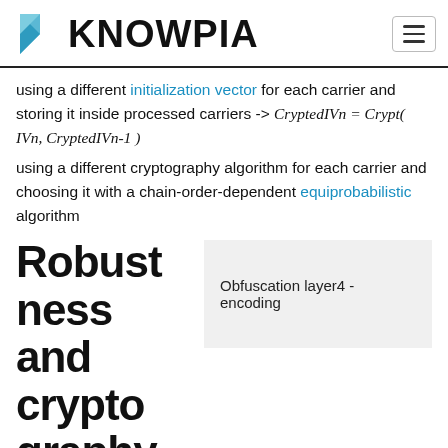KNOWPIA
using a different initialization vector for each carrier and storing it inside processed carriers -> CryptedIVn = Crypt( IVn, CryptedIVn-1 )
using a different cryptography algorithm for each carrier and choosing it with a chain-order-dependent equiprobabilistic algorithm
Robustness and cryptography
Obfuscation layer4 - encoding
Steganography tools aim to ensure robustness against modern forensic methods, such as statistical